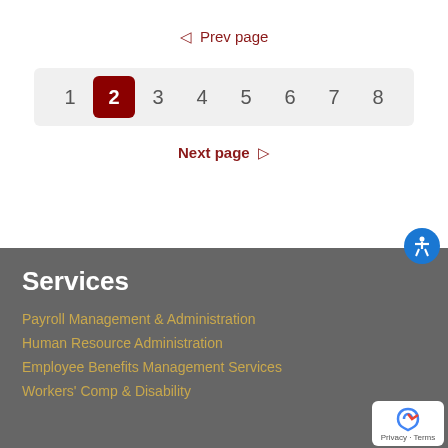◁  Prev page
1  2  3  4  5  6  7  8
Next page  ▷
Services
Payroll Management & Administration
Human Resource Administration
Employee Benefits Management Services
Workers' Comp & Disability